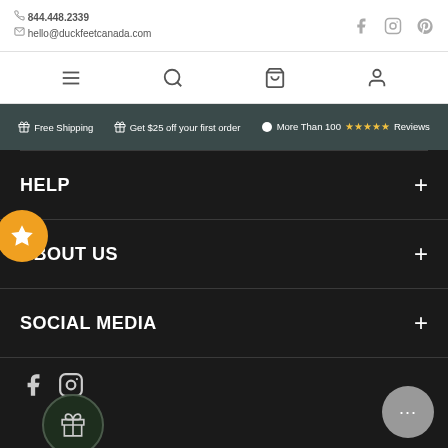844.448.2339 | hello@duckfeetcanada.com
[Figure (screenshot): Navigation icons: hamburger menu, search, shopping bag, user account]
Free Shipping | Get $25 off your first order | More Than 100 ★★★★★ Reviews
HELP
ABOUT US
SOCIAL MEDIA
[Figure (illustration): Facebook and Instagram social media icons at the bottom, with a gift icon circle]